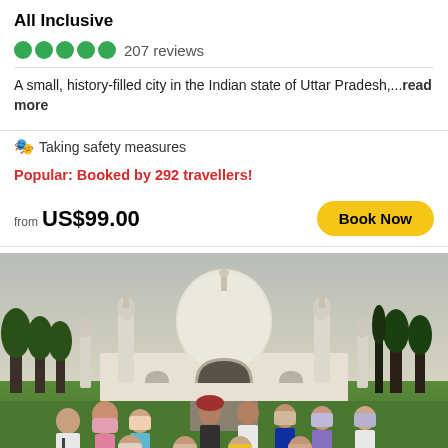All Inclusive
207 reviews
A small, history-filled city in the Indian state of Uttar Pradesh,...read more
Taking safety measures
Popular: Booked by 292 travellers!
from US$99.00
Book Now
[Figure (photo): Group of tourists posing in front of the Taj Mahal in Agra, India. The white marble mausoleum with its iconic dome and minarets is visible in the background. A green lawn and cypress trees frame the scene. The group includes about 12 people, some wearing hijabs, standing and sitting outdoors during late afternoon light.]